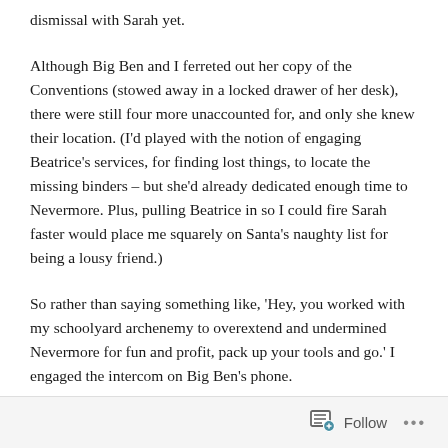dismissal with Sarah yet.
Although Big Ben and I ferreted out her copy of the Conventions (stowed away in a locked drawer of her desk), there were still four more unaccounted for, and only she knew their location. (I’d played with the notion of engaging Beatrice’s services, for finding lost things, to locate the missing binders – but she’d already dedicated enough time to Nevermore. Plus, pulling Beatrice in so I could fire Sarah faster would place me squarely on Santa’s naughty list for being a lousy friend.)
So rather than saying something like, ‘Hey, you worked with my schoolyard archenemy to overextend and undermined Nevermore for fun and profit, pack up your tools and go.’ I engaged the intercom on Big Ben’s phone.
Follow …